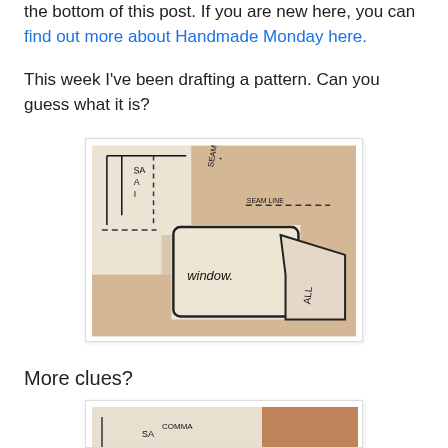the bottom of this post.  If you are new here, you can find out more about Handmade Monday here.
This week I've been drafting a pattern.  Can you guess what it is?
[Figure (photo): A photograph of sewing/pattern paper pieces laid out on a surface with hand-drawn pattern markings including 'window' label and dashed lines.]
More clues?
[Figure (photo): A second photograph showing more pattern pieces on a wooden surface.]